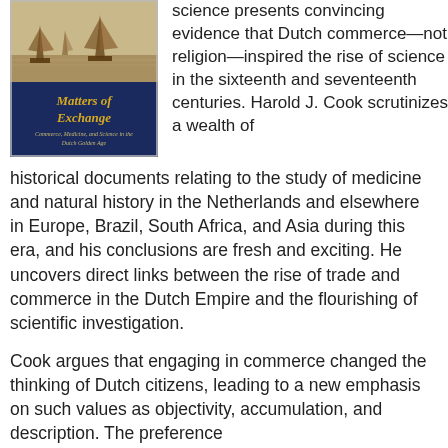[Figure (photo): Book cover of 'Matters of Exchange: Commerce, Medicine, and Science in the Dutch Golden Age' showing sailing ships on water with the title text in gold on a dark blue background.]
science presents convincing evidence that Dutch commerce—not religion—inspired the rise of science in the sixteenth and seventeenth centuries. Harold J. Cook scrutinizes a wealth of historical documents relating to the study of medicine and natural history in the Netherlands and elsewhere in Europe, Brazil, South Africa, and Asia during this era, and his conclusions are fresh and exciting. He uncovers direct links between the rise of trade and commerce in the Dutch Empire and the flourishing of scientific investigation.
Cook argues that engaging in commerce changed the thinking of Dutch citizens, leading to a new emphasis on such values as objectivity, accumulation, and description. The preference